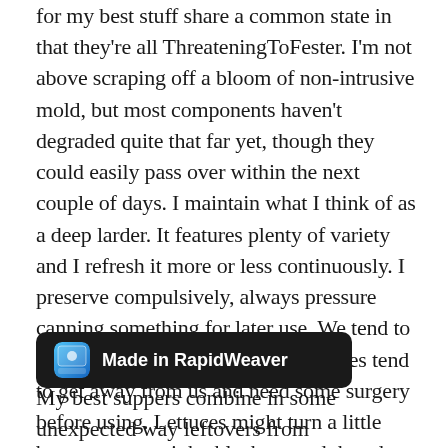for my best stuff share a common state in that they're all ThreateningToFester. I'm not above scraping off a bloom of non-intrusive mold, but most components haven't degraded quite that far yet, though they could easily pass over within the next couple of days. I maintain what I think of as a deep larder. It features plenty of variety and I refresh it more or less continuously. I preserve compulsively, always pressure canning something for later use. We tend to over-buy fresh veg and fruit. Mangoes tend to get away from us and need some surgery before using. Lettuces might turn a little brown, or even inky black around the edges before their turn comes up in rotation. I trim the worst, saving those trimmings in the freezer for a later stock pot, and all's right with our world again. Cilantro almost always manages to completely go to the dark side before I find it as an inky mess in the bottom of the Black Hole w…nsequential loss.
[Figure (other): Made in RapidWeaver badge — dark rounded rectangle with app icon and text]
My best suppers combine in some unexpected way leftovers from